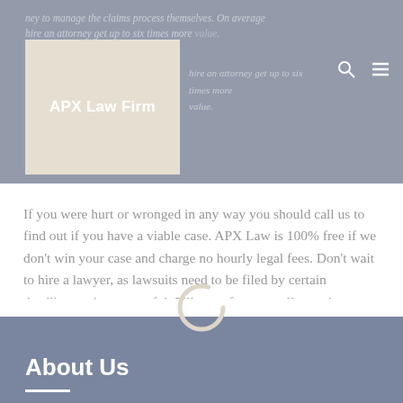APX Law Firm — navigation header with logo, search and menu icons. Faded background text: 'ney to manage the claims process themselves. On average hire an attorney get up to six times more value.'
If you were hurt or wronged in any way you should call us to find out if you have a viable case. APX Law is 100% free if we don't win your case and charge no hourly legal fees. Don't wait to hire a lawyer, as lawsuits need to be filed by certain deadlines to be successful. Fill out a form or call us today.
About Us